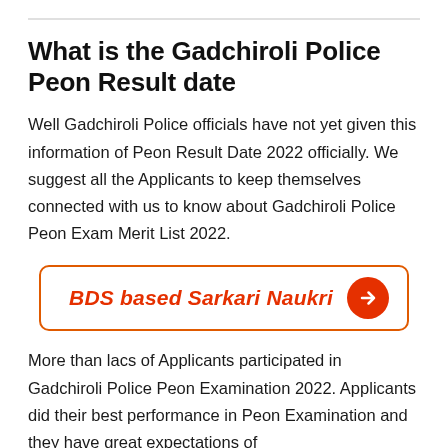What is the Gadchiroli Police Peon Result date
Well Gadchiroli Police officials have not yet given this information of Peon Result Date 2022 officially. We suggest all the Applicants to keep themselves connected with us to know about Gadchiroli Police Peon Exam Merit List 2022.
[Figure (other): Button/CTA element: orange-bordered rectangle with red italic text 'BDS based Sarkari Naukri' and a red circle with white right arrow]
More than lacs of Applicants participated in Gadchiroli Police Peon Examination 2022. Applicants did their best performance in Peon Examination and they have great expectations of